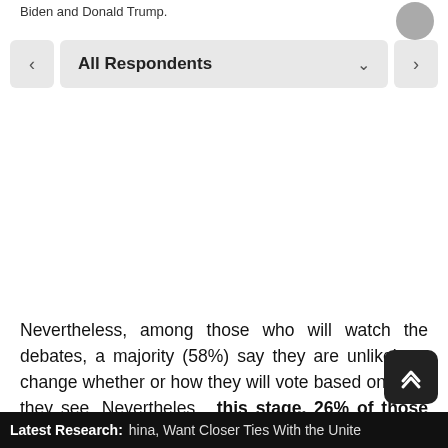Biden and Donald Trump.
[Figure (screenshot): Navigation control with left arrow, 'All Respondents' dropdown, and right arrow button]
[Figure (other): Empty white chart area placeholder]
Nevertheless, among those who will watch the debates, a majority (58%) say they are unlikely to change whether or how they will vote based on what they see. Nevertheless, at this stage, 26% of those who will watch the Presidential Debates are likely to change...
Latest Research: hina, Want Closer Ties With the Unite